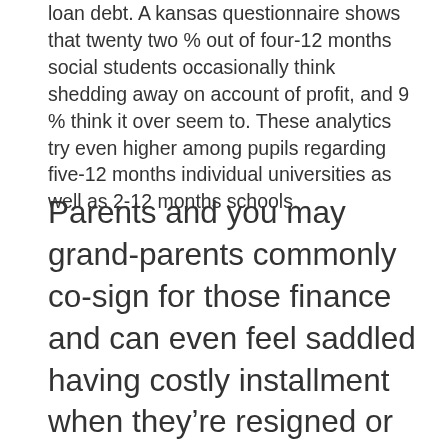loan debt. A kansas questionnaire shows that twenty two % out of four-12 months social students occasionally think shedding away on account of profit, and 9 % think it over seem to. These analytics try even higher among pupils regarding five-12 months individual universities as well as 2-12 months schools.
Parents and you may grand-parents commonly co-sign for those finance and can even feel saddled having costly installment when they're resigned or trying cut to possess old-age In respect with the Federal Set-aside Lender of the latest York, those who are 60 otherwise elderly owe $43 million during the college student debt.